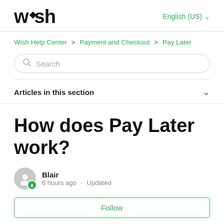wish  English (US)
Wish Help Center > Payment and Checkout > Pay Later
Search
Articles in this section
How does Pay Later work?
Blair  6 hours ago · Updated
Follow